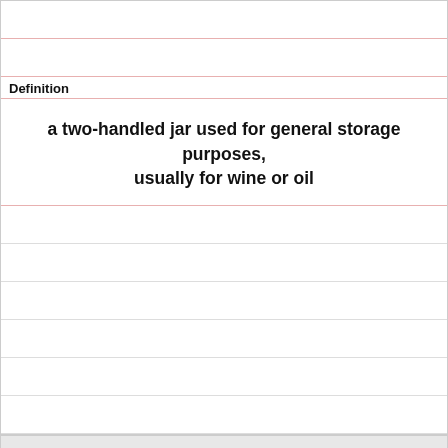Definition
a two-handled jar used for general storage purposes, usually for wine or oil
Term
black-figure ware